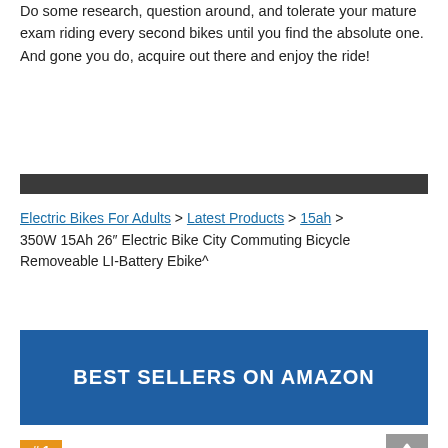Do some research, question around, and tolerate your mature exam riding every second bikes until you find the absolute one. And gone you do, acquire out there and enjoy the ride!
[Figure (other): Dark horizontal divider bar]
Electric Bikes For Adults > Latest Products > 15ah > 350W 15Ah 26″ Electric Bike City Commuting Bicycle Removeable LI-Battery Ebike^
[Figure (infographic): Blue banner with text BEST SELLERS ON AMAZON]
# 1